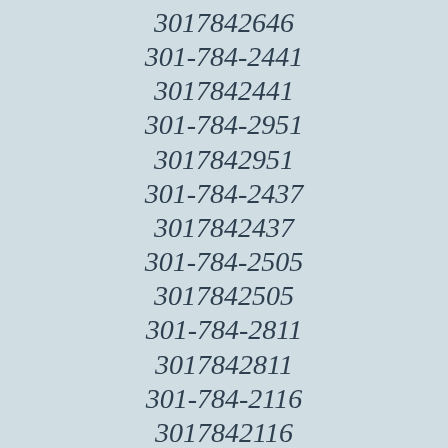3017842646
301-784-2441
3017842441
301-784-2951
3017842951
301-784-2437
3017842437
301-784-2505
3017842505
301-784-2811
3017842811
301-784-2116
3017842116
301-784-2635
3017842635
301-784-2803